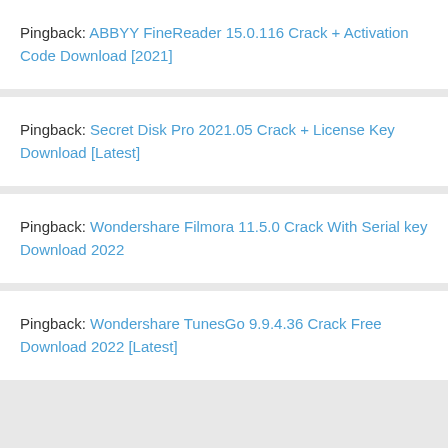Pingback: ABBYY FineReader 15.0.116 Crack + Activation Code Download [2021]
Pingback: Secret Disk Pro 2021.05 Crack + License Key Download [Latest]
Pingback: Wondershare Filmora 11.5.0 Crack With Serial key Download 2022
Pingback: Wondershare TunesGo 9.9.4.36 Crack Free Download 2022 [Latest]